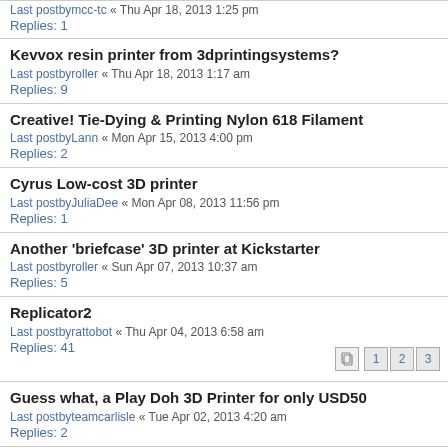Last postbymcc-tc « Thu Apr 18, 2013 1:25 pm
Replies: 1
Kevvox resin printer from 3dprintingsystems?
Last postbyroller « Thu Apr 18, 2013 1:17 am
Replies: 9
Creative! Tie-Dying & Printing Nylon 618 Filament
Last postbyLann « Mon Apr 15, 2013 4:00 pm
Replies: 2
Cyrus Low-cost 3D printer
Last postbyJuliaDee « Mon Apr 08, 2013 11:56 pm
Replies: 1
Another 'briefcase' 3D printer at Kickstarter
Last postbyroller « Sun Apr 07, 2013 10:37 am
Replies: 5
Replicator2
Last postbyrattobot « Thu Apr 04, 2013 6:58 am
Replies: 41
[pages: 1 2 3]
Guess what, a Play Doh 3D Printer for only USD50
Last postbyteamcarlisle « Tue Apr 02, 2013 4:20 am
Replies: 2
Interesting new 3d-printer models
Last postbyLann « Tue Apr 02, 2013 2:25 am
Replies: 1